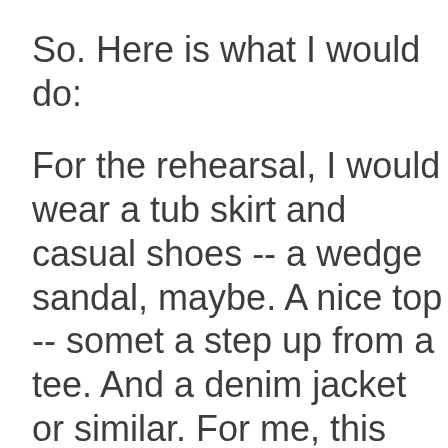So. Here is what I would do:
For the rehearsal, I would wear a tub skirt and casual shoes -- a wedge sandal, maybe. A nice top -- somet a step up from a tee. And a denim jacket or similar. For me, this would strike the balance between casual a dressier and would possibly make it easier to sit out the games, if that is